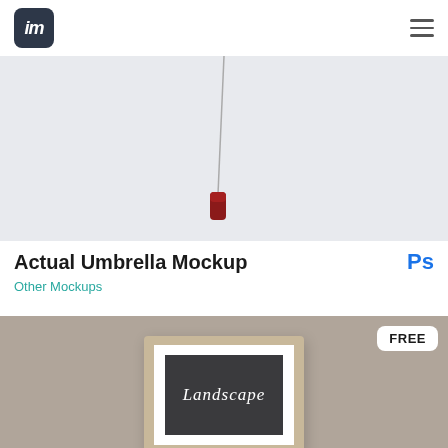[Figure (logo): Mockup logo: dark square with italic lowercase 'im' text in white]
[Figure (photo): Top-down view of an umbrella handle/tip against a light gray background — part of Actual Umbrella Mockup product image]
Actual Umbrella Mockup
Ps
Other Mockups
[Figure (photo): A framed landscape-format art print mockup showing a dark frame with white mat and dark inner card reading 'Landscape', placed on a taupe/brownish background. A FREE badge appears in the top right corner.]